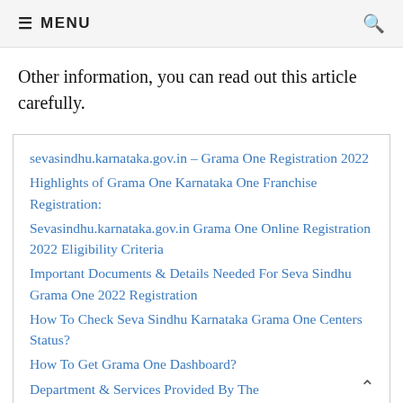MENU
Other information, you can read out this article carefully.
sevasindhu.karnataka.gov.in – Grama One Registration 2022
Highlights of Grama One Karnataka One Franchise Registration:
Sevasindhu.karnataka.gov.in Grama One Online Registration 2022 Eligibility Criteria
Important Documents & Details Needed For Seva Sindhu Grama One 2022 Registration
How To Check Seva Sindhu Karnataka Grama One Centers Status?
How To Get Grama One Dashboard?
Department & Services Provided By The